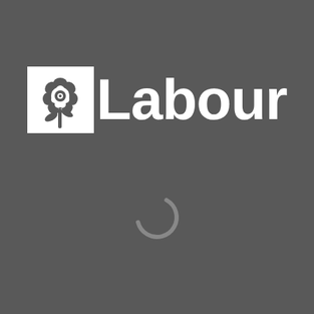[Figure (logo): UK Labour Party logo: white rose icon in a square on the left, followed by the word 'Labour' in bold white sans-serif text]
[Figure (other): Loading spinner: a circular arc/ring in light grey partially complete, indicating a loading state]